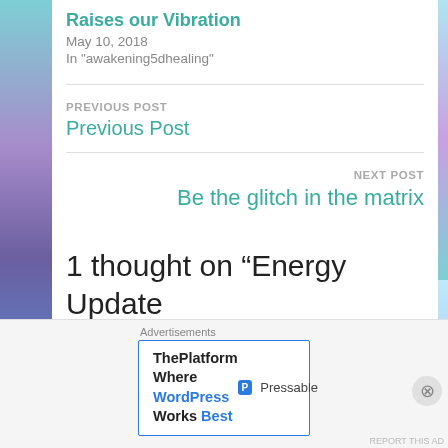Raises our Vibration
May 10, 2018
In "awakening5dhealing"
PREVIOUS POST
Previous Post
NEXT POST
Be the glitch in the matrix
1 thought on “Energy Update
[Figure (other): Advertisements banner: ThePlatform Where WordPress Works Best — Pressable]
REPORT THIS AD